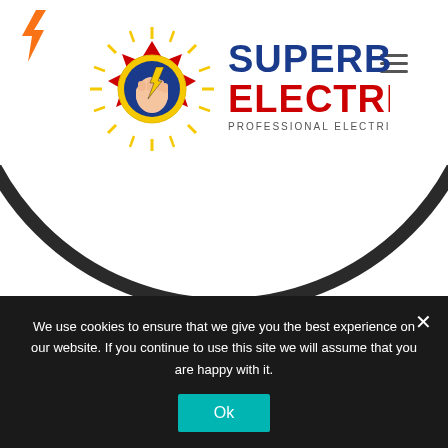[Figure (logo): Superb Electric logo with fist holding lightning bolt inside Philippine sun and Canadian maple leaf, with text SUPERB ELECTRIC PROFESSIONAL ELECTRICAL SERVICE]
[Figure (illustration): Partially visible gear/sprocket image showing the lower arc of a dark circle and top of gear teeth at the bottom]
We use cookies to ensure that we give you the best experience on our website. If you continue to use this site we will assume that you are happy with it.
[Figure (other): Ok button - teal/cyan colored button with text Ok]